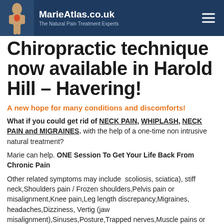MarieAtlas.co.uk – The Natural Pain Treatment Experts
Chiropractic technique now available in Harold Hill – Havering!
A new hope for many conditions and discomforts!
What if you could get rid of NECK PAIN, WHIPLASH, NECK PAIN and MIGRAINES. with the help of a one-time non intrusive natural treatment?
Marie can help. ONE Session To Get Your Life Back From Chronic Pain
Other related symptoms may include  scoliosis, sciatica), stiff neck,Shoulders pain / Frozen shoulders,Pelvis pain or misalignment,Knee pain,Leg length discrepancy,Migraines, headaches,Dizziness, Vertig (jaw misalignment),Sinuses,Posture,Trapped nerves,Muscle pains or tensions,Facial pains,Brain fog,Pressure around the head/eyes,Chronic Fatigue /